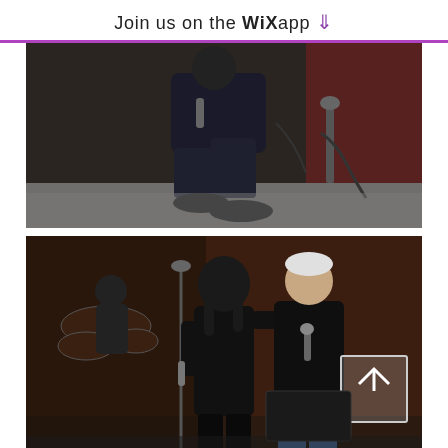Join us on the WiX app ↓
[Figure (photo): A performer kneeling on stage during a concert, holding a microphone, wearing a dark suit. Stage equipment and cables visible in background.]
[Figure (photo): Two performers singing together on stage, one with long hair in black outfit, one in black sweater with jeans. A drummer visible in the background. A scroll-up button overlay visible in bottom right.]